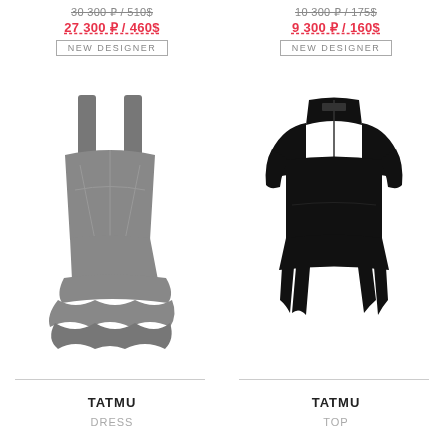30 300 ₽ / 510$ (strikethrough)
27 300 ₽ / 460$
NEW DESIGNER
[Figure (photo): Gray ruffled mini dress with square neckline and thick straps on white background]
TATMU
DRESS
10 300 ₽ / 175$ (strikethrough)
9 300 ₽ / 160$
NEW DESIGNER
[Figure (photo): Black structured top with short sleeves, V-neckline, peplum hem with pointed panels on white background]
TATMU
TOP